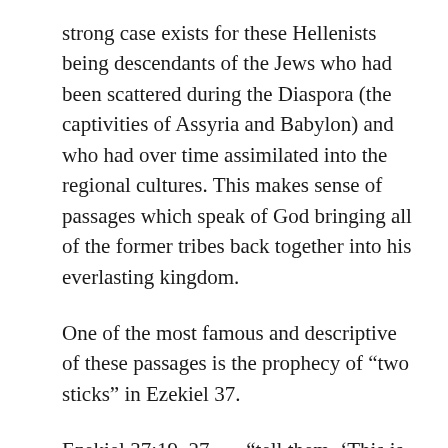strong case exists for these Hellenists being descendants of the Jews who had been scattered during the Diaspora (the captivities of Assyria and Babylon) and who had over time assimilated into the regional cultures. This makes sense of passages which speak of God bringing all of the former tribes back together into his everlasting kingdom.
One of the most famous and descriptive of these passages is the prophecy of “two sticks” in Ezekiel 37.
Ezekiel 37:19–27 – “tell them, ‘This is what Yahweh GOD says: I am going to take the stick of Joseph, which is in the hand of Ephraim, and